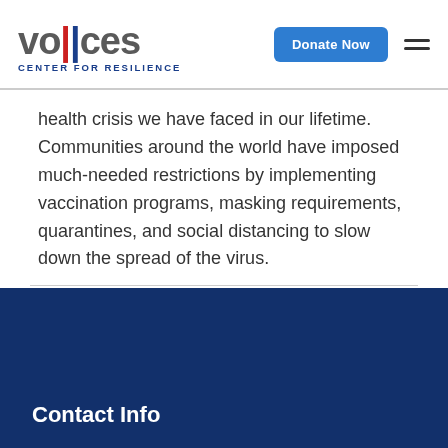[Figure (logo): Voices Center for Resilience logo with colored vertical bars in the letter 'i' and tagline 'CENTER FOR RESILIENCE']
health crisis we have faced in our lifetime. Communities around the world have imposed much-needed restrictions by implementing vaccination programs, masking requirements, quarantines, and social distancing to slow down the spread of the virus.
Contact Info